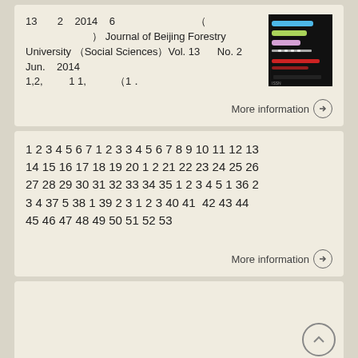13  2  2014  6  (  )  Journal of Beijing Forestry University ( Social Sciences) Vol. 13    No. 2  Jun.   2014
1,2,      1 1,      (1.
[Figure (other): Journal cover image showing colored horizontal lines/stripes on black background]
1 2 3 4 5 6 7 1 2 3 3 4 5 6 7 8 9 10 11 12 13 14 15 16 17 18 19 20 1 2 21 22 23 24 25 26 27 28 29 30 31 32 33 34 35 1 2 3 4 5 1 36 2 3 4 37 5 38 1 39 2 3 1 2 3 40 41  42 43 44 45 46 47 48 49 50 51 52 53